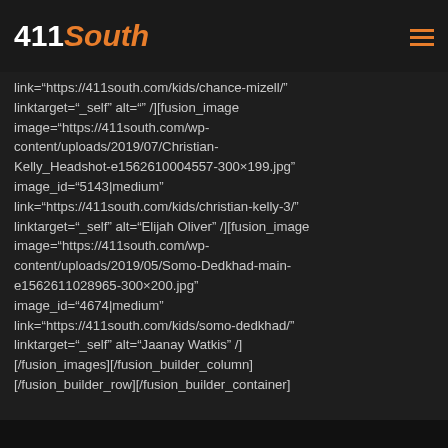411South
image="https://411south.com/wp-content/uploads/2019/07/Chance-Mizell_Headshot-e1562611016-300×199.jpeg" image_id="5132|medium" link="https://411south.com/kids/chance-mizell/" linktarget="_self" alt="" /][fusion_image image="https://411south.com/wp-content/uploads/2019/07/Christian-Kelly_Headshot-e1562610004557-300×199.jpg" image_id="5143|medium" link="https://411south.com/kids/christian-kelly-3/" linktarget="_self" alt="Elijah Oliver" /][fusion_image image="https://411south.com/wp-content/uploads/2019/05/Somo-Dedkhad-main-e1562611028965-300×200.jpg" image_id="4674|medium" link="https://411south.com/kids/somo-dedkhad/" linktarget="_self" alt="Jaanay Watkis" /] [/fusion_images][/fusion_builder_column] [/fusion_builder_row][/fusion_builder_container]